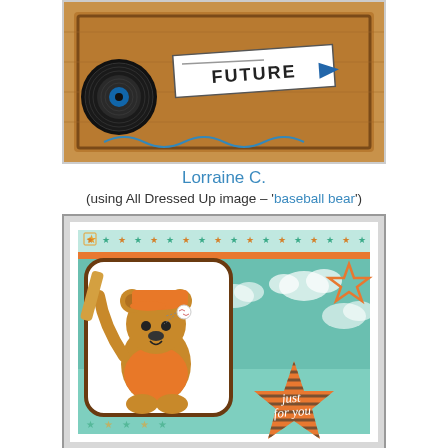[Figure (photo): Top partial image showing a craft card with 'FUTURE' text label and a vinyl record, brown/tan background with decorative elements]
Lorraine C.
(using All Dressed Up image – 'baseball bear')
[Figure (photo): Handmade greeting card featuring a cartoon baseball bear character swinging a bat, wearing an orange shirt, on a teal cloud-patterned background with stars and 'just for you' text on a brown striped star shape]